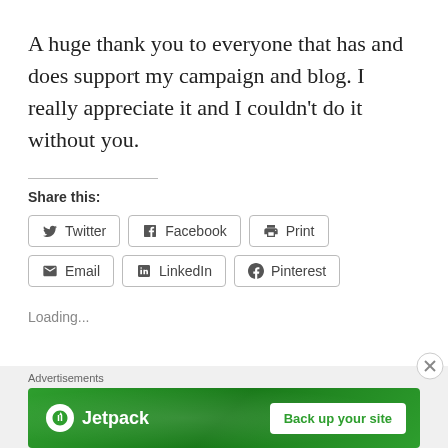A huge thank you to everyone that has and does support my campaign and blog. I really appreciate it and I couldn't do it without you.
Share this:
Twitter  Facebook  Print  Email  LinkedIn  Pinterest
Loading...
Advertisements
[Figure (illustration): Jetpack advertisement banner with logo and 'Back up your site' button on green background]